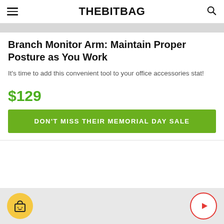THEBITBAG
Branch Monitor Arm: Maintain Proper Posture as You Work
It's time to add this convenient tool to your office accessories stat!
$129
DON'T MISS THEIR MEMORIAL DAY SALE
[Figure (logo): Shopping bag icon in yellow circle and play button icon in red circle on grey strip at bottom]